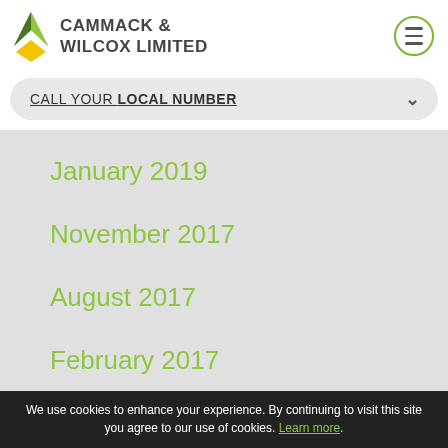[Figure (logo): Cammack & Wilcox Limited logo with green and yellow arrow icon and company name text]
CALL YOUR LOCAL NUMBER
January 2019
November 2017
August 2017
February 2017
We use cookies to enhance your experience. By continuing to visit this site you agree to our use of cookies. Learn more.